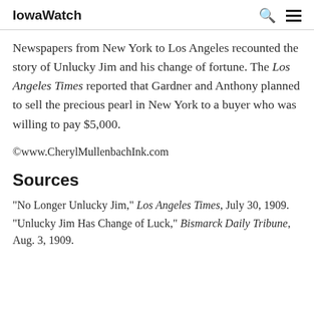IowaWatch
Newspapers from New York to Los Angeles recounted the story of Unlucky Jim and his change of fortune. The Los Angeles Times reported that Gardner and Anthony planned to sell the precious pearl in New York to a buyer who was willing to pay $5,000.
©www.CherylMullenbachInk.com
Sources
"No Longer Unlucky Jim," Los Angeles Times, July 30, 1909.
"Unlucky Jim Has Change of Luck," Bismarck Daily Tribune, Aug. 3, 1909.